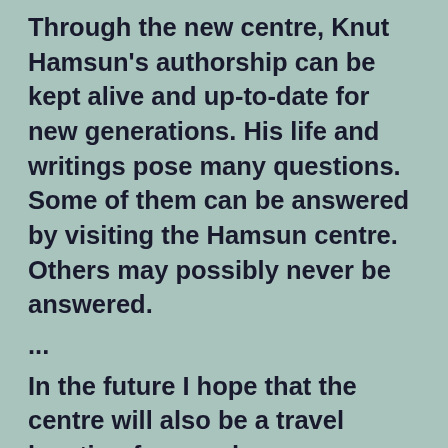Through the new centre, Knut Hamsun's authorship can be kept alive and up-to-date for new generations. His life and writings pose many questions. Some of them can be answered by visiting the Hamsun centre. Others may possibly never be answered.
...
In the future I hope that the centre will also be a travel location for wanderers interested in culture, from across the world."
The Crown Princess is the protector of the